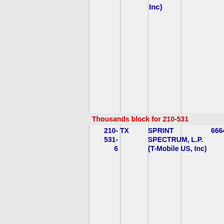| NPA-NXX | State | Company | Block | City |
| --- | --- | --- | --- | --- |
|  |  | Inc) |  |  |
| 210-531-6 | TX | SPRINT SPECTRUM, L.P. (T-Mobile US, Inc) | 6664 | SANANTO... |